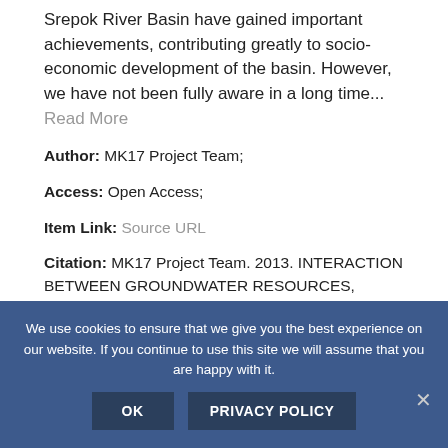Srepok River Basin have gained important achievements, contributing greatly to socio-economic development of the basin. However, we have not been fully aware in a long time... Read More
Author: MK17 Project Team;
Access: Open Access;
Item Link: Source URL
Citation: MK17 Project Team. 2013. INTERACTION BETWEEN GROUNDWATER RESOURCES, AGRICULTURAL PRODUCTION AND WATER
We use cookies to ensure that we give you the best experience on our website. If you continue to use this site we will assume that you are happy with it.